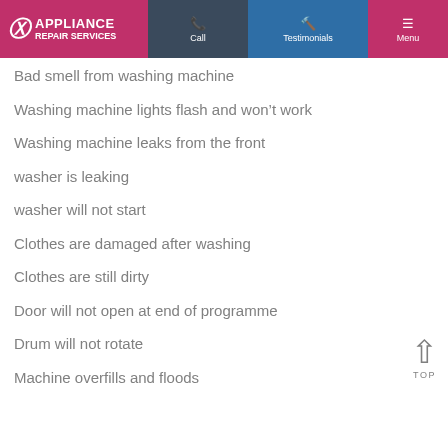NW Appliance Repair Services | Call | Testimonials | Menu
Bad smell from washing machine
Washing machine lights flash and won't work
Washing machine leaks from the front
washer is leaking
washer will not start
Clothes are damaged after washing
Clothes are still dirty
Door will not open at end of programme
Drum will not rotate
Machine overfills and floods